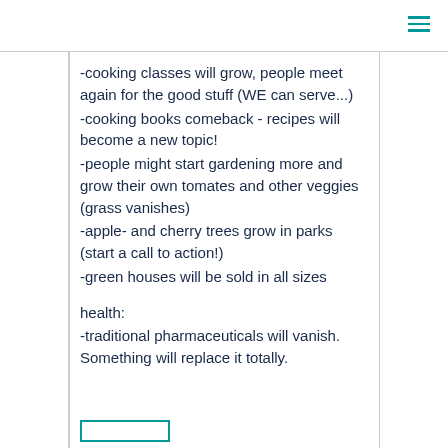-cooking classes will grow, people meet again for the good stuff (WE can serve...)
-cooking books comeback - recipes will become a new topic!
-people might start gardening more and grow their own tomates and other veggies (grass vanishes)
-apple- and cherry trees grow in parks (start a call to action!)
-green houses will be sold in all sizes
health:
-traditional pharmaceuticals will vanish. Something will replace it totally.